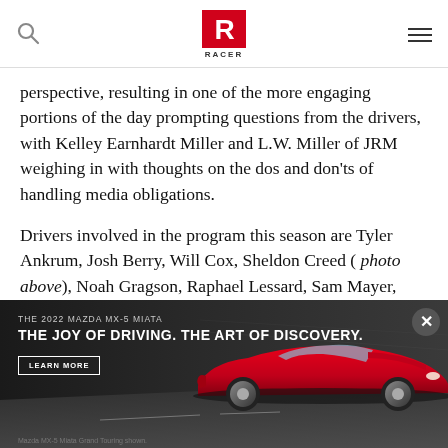RACER
perspective, resulting in one of the more engaging portions of the day prompting questions from the drivers, with Kelley Earnhardt Miller and L.W. Miller of JRM weighing in with thoughts on the dos and don'ts of handling media obligations.
Drivers involved in the program this season are Tyler Ankrum, Josh Berry, Will Cox, Sheldon Creed ( photo above), Noah Gragson, Raphael Lessard, Sam Mayer, Chase Purdy, Zane Smith, and Jack Wood.
Participation in the program gives drivers the chance to race in different series with the two teams. The
[Figure (photo): Advertisement for the 2022 Mazda MX-5 Miata showing a red convertible sports car on a road with dark background. Text reads: THE 2022 MAZDA MX-5 MIATA, THE JOY OF DRIVING. THE ART OF DISCOVERY. with a LEARN MORE button. Close button (X) in top right corner. Caption: Mazda MX-5 Miata Grand Touring shown.]